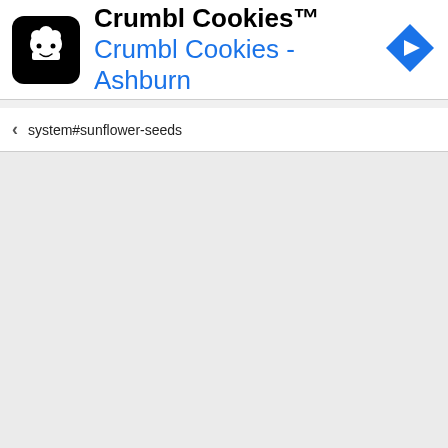[Figure (screenshot): Crumbl Cookies advertisement banner with black square logo showing a cartoon chef face, company name 'Crumbl Cookies™' in bold black text, subtitle 'Crumbl Cookies - Ashburn' in blue text, and a blue diamond-shaped navigation arrow icon on the right]
system#sunflower-seeds